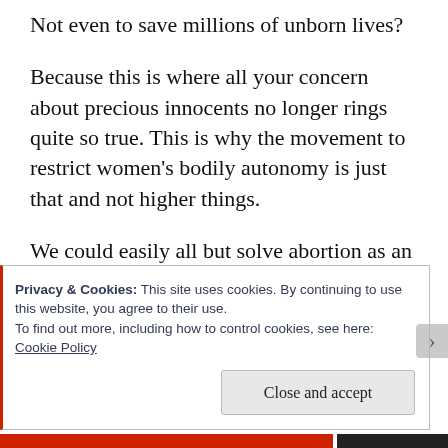Not even to save millions of unborn lives?
Because this is where all your concern about precious innocents no longer rings quite so true. This is why the movement to restrict women's bodily autonomy is just that and not higher things.
We could easily all but solve abortion as an issue without even outlawing it, but that's never what it's really about when you actually start
Privacy & Cookies: This site uses cookies. By continuing to use this website, you agree to their use.
To find out more, including how to control cookies, see here: Cookie Policy
Close and accept